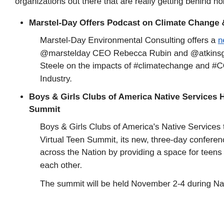organizations out there that are really getting behind holding themselves accountable."
Marstel-Day Offers Podcast on Climate Change & ...
Marstel-Day Environmental Consulting offers a new p... @marstelday CEO Rebecca Rubin and @atkinsglo... Steele on the impacts of #climatechange and #COVI... Industry.
Boys & Girls Clubs of America Native Services Ho... Summit
Boys & Girls Clubs of America's Native Services tea... Virtual Teen Summit, its new, three-day conference u... across the Nation by providing a space for teens to b... each other.
The summit will be held November 2-4 during Nation...